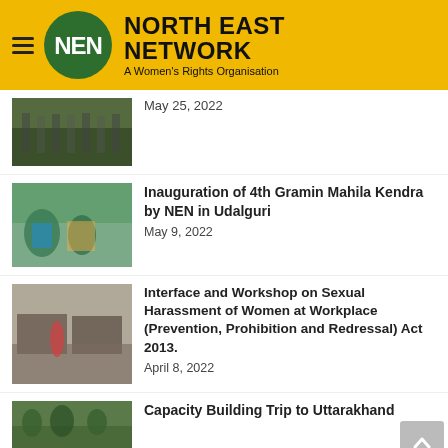NORTH EAST NETWORK — A Women's Rights Organisation
[Figure (photo): Thumbnail of people standing in a line outdoors on grass]
May 25, 2022
Inauguration of 4th Gramin Mahila Kendra by NEN in Udalguri
[Figure (photo): Thumbnail of people cutting a ribbon at a ceremony]
May 9, 2022
Interface and Workshop on Sexual Harassment of Women at Workplace (Prevention, Prohibition and Redressal) Act 2013.
[Figure (photo): Thumbnail of people seated in a workshop or conference room]
April 8, 2022
Capacity Building Trip to Uttarakhand
[Figure (photo): Thumbnail of outdoor landscape with trees and people]